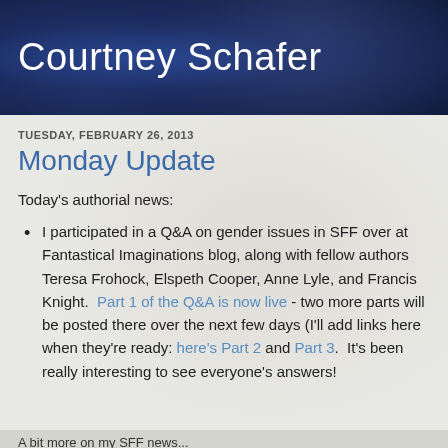Courtney Schafer
TUESDAY, FEBRUARY 26, 2013
Monday Update
Today's authorial news:
I participated in a Q&A on gender issues in SFF over at Fantastical Imaginations blog, along with fellow authors Teresa Frohock, Elspeth Cooper, Anne Lyle, and Francis Knight.  Part 1 of the Q&A is now live - two more parts will be posted there over the next few days (I'll add links here when they're ready: here's Part 2 and Part 3.  It's been really interesting to see everyone's answers!
A bit more on my SFF news (footer cut off)